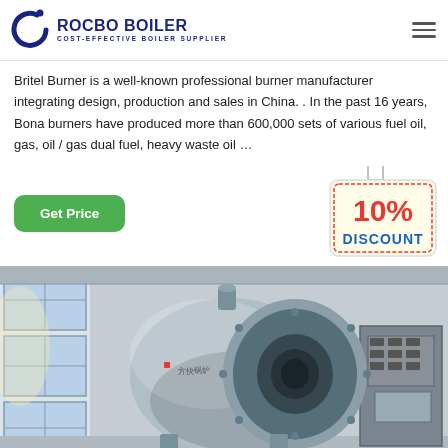ROCBO BOILER — COST-EFFECTIVE BOILER SUPPLIER
Britel Burner is a well-known professional burner manufacturer integrating design, production and sales in China. . In the past 16 years, Bona burners have produced more than 600,000 sets of various fuel oil, gas, oil / gas dual fuel, heavy waste oil …
[Figure (illustration): Green 'Get Price' button and a 10% DISCOUNT badge hanging sign]
[Figure (photo): Industrial boiler in a factory — large cylindrical boiler with a circular burner port, silver metallic body, visible in an industrial hall with windows on the left and machinery on the right]